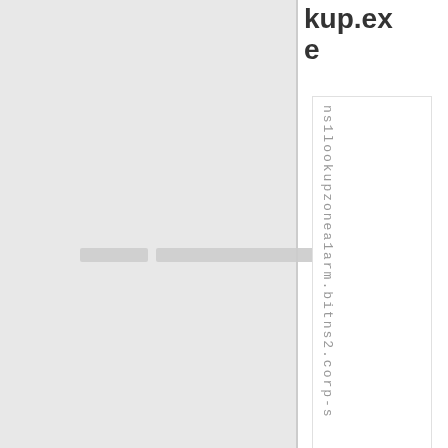[Figure (screenshot): Left panel showing a gray background area with two horizontal light gray bars near the vertical center]
kup.exe
ns1lookupzonea1arm.bitns2.corp-s